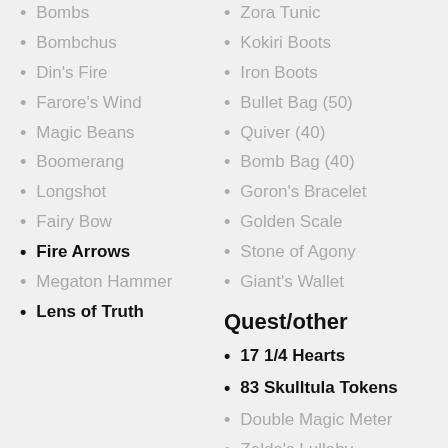Bombs
Bombchus
Din's Fire
Farore's Wind
Magic Beans
Boomerang
Longshot
Fairy Bow
Fire Arrows
Megaton Hammer
Lens of Truth
Zora Tunic
Kokiri Boots
Iron Boots
Bullet Bag (50)
Quiver (40)
Bomb Bag (40)
Goron's Bracelet
Golden Scale
Stone of Agony
Giant's Wallet
Quest/other
17 1/4 Hearts
83 Skulltula Tokens
Double Magic Meter
Zelda's Lullaby